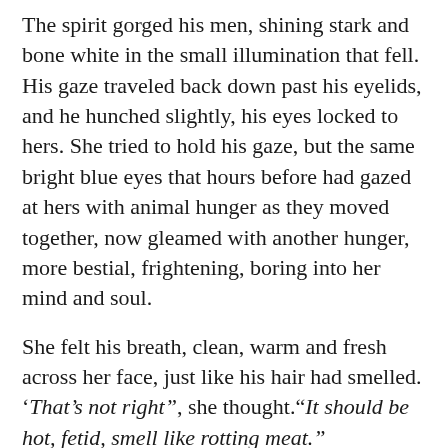The spirit gorged his men, shining stark and bone white in the small illumination that fell. His gaze traveled back down past his eyelids, and he hunched slightly, his eyes locked to hers. She tried to hold his gaze, but the same bright blue eyes that hours before had gazed at hers with animal hunger as they moved together, now gleamed with another hunger, more bestial, frightening, boring into her mind and soul.
She felt his breath, clean, warm and fresh across her face, just like his hair had smelled. ‘That’s not right”, she thought.“It should be hot, fetid, smell like rotting meat.”
“Something a little… fresher.”
He reached out a claw, and she bit down hard to keep from screaming as it slid between ropes and sank into her breast. Her vision swam as he twisted the finger and pulled, and a torrent of red followed, collecting into the barrel below.